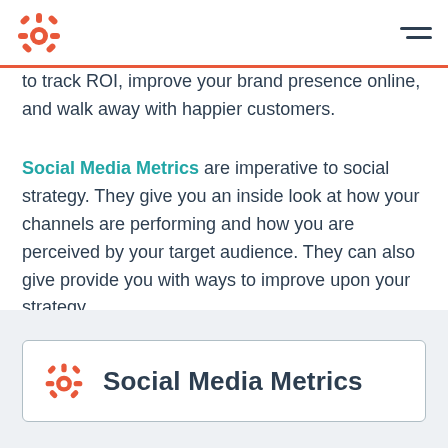HubSpot logo and navigation menu
to track ROI, improve your brand presence online, and walk away with happier customers.
Social Media Metrics are imperative to social strategy. They give you an inside look at how your channels are performing and how you are perceived by your target audience. They can also give provide you with ways to improve upon your strategy.
Social Media Metrics